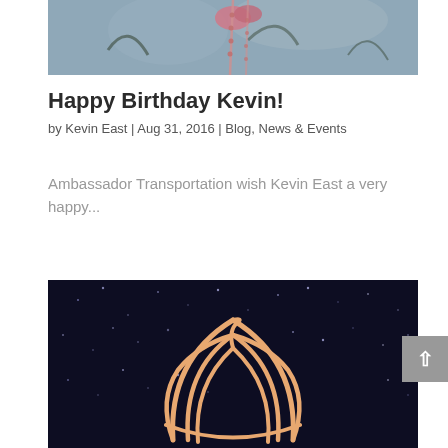[Figure (photo): Partial view of a person wearing a floral Hawaiian shirt with a rose/pink beaded necklace chain visible, cropped at top of page]
Happy Birthday Kevin!
by Kevin East | Aug 31, 2016 | Blog, News & Events
Ambassador Transportation wish Kevin East a very happy...
[Figure (logo): Logo/illustration of a pumpkin or circular organic shape drawn in orange/tan lines on a dark starry night sky background]